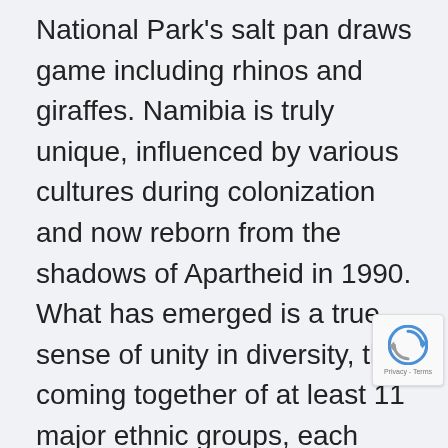National Park's salt pan draws game including rhinos and giraffes. Namibia is truly unique, influenced by various cultures during colonization and now reborn from the shadows of Apartheid in 1990. What has emerged is a true sense of unity in diversity, the coming together of at least 11 major ethnic groups, each celebrating their past while working together toward the future. You will notice this in dress, language, art, music, sport, food and religion. There exists a wonderful collage, but first and foremost, Namibians are proud to be Namibian. And for good reason. The ruggedness of the Namibian landscape has obviously done nothing to deter both flora and fauna from adapting and thriving. Here, the very act of survival can